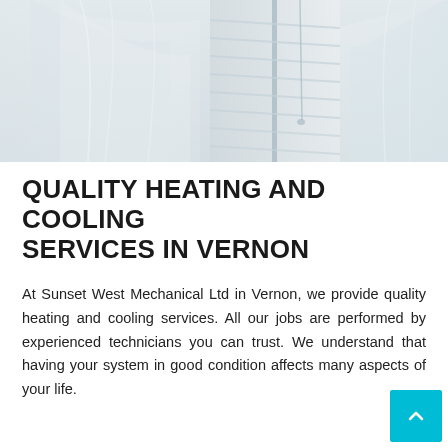[Figure (photo): Photo of indoor HVAC unit or window with sheer curtains and blinds, light and airy, mostly white/grey tones]
QUALITY HEATING AND COOLING SERVICES IN VERNON
At Sunset West Mechanical Ltd in Vernon, we provide quality heating and cooling services. All our jobs are performed by experienced technicians you can trust. We understand that having your system in good condition affects many aspects of your life.